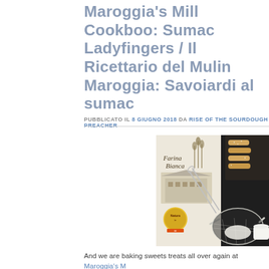Maroggia's Mill Cookboo: Sumac Ladyfingers / Il Ricettario del Mulino Maroggia: Savoiardi al sumac
PUBBLICATO IL 8 GIUGNO 2018 DA RISE OF THE SOURDOUGH PREACHER
[Figure (photo): Overhead photo on dark background showing a flour bag labeled 'Farina Bianca' with a whisk, a fine mesh sieve/strainer with powdered sugar, and ladyfinger cookies on a dark baking tray.]
And we are baking sweets treats all over again at Maroggia's Mill Cookbook recipe I propose a classic of Italian pastry…slig